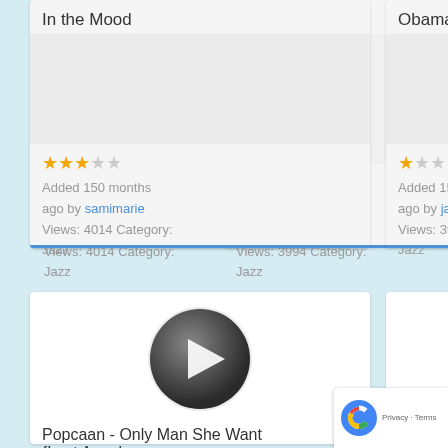In the Mood
[Figure (other): Star rating: 3 out of 5 stars (filled gold stars)]
Added 150 months ago by samimarie
Views: 4014 Category:
Jazz
Obama
[Figure (other): Star rating: 1 out of 5 stars (filled gold star)]
Added 155 months ago by jacobmeyer59
Views: 3994 Category:
Jazz
[Figure (other): Play button icon (dark circular play button)]
Popcaan - Only Man She Want {Lost Angel
[Figure (other): Play button icon (dark circular play button)]
Red red wine
[Figure (other): Google reCAPTCHA badge with Privacy and Terms links]